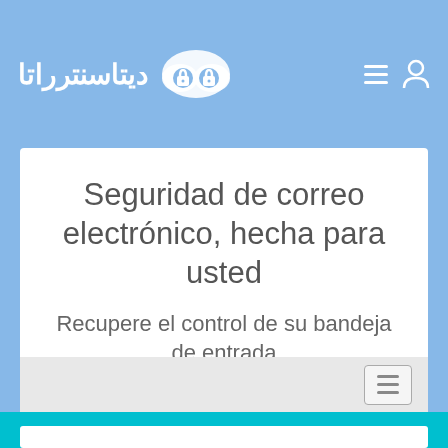[Figure (logo): Website header with Arabic logo text, cloud icon with lock, hamburger menu and user icon on blue background]
Seguridad de correo electrónico, hecha para usted
Recupere el control de su bandeja de entrada
[Figure (screenshot): Gray bar with hamburger menu button on the right]
[Figure (screenshot): Cyan/teal colored section at the bottom with a white input field]